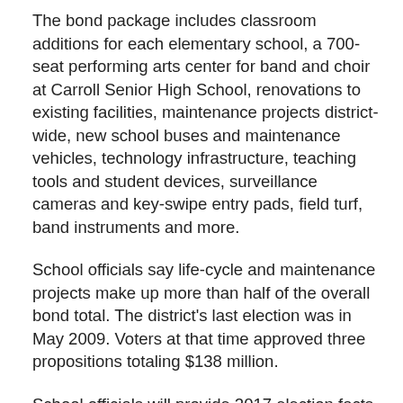The bond package includes classroom additions for each elementary school, a 700-seat performing arts center for band and choir at Carroll Senior High School, renovations to existing facilities, maintenance projects district-wide, new school buses and maintenance vehicles, technology infrastructure, teaching tools and student devices, surveillance cameras and key-swipe entry pads, field turf, band instruments and more.
School officials say life-cycle and maintenance projects make up more than half of the overall bond total. The district's last election was in May 2009. Voters at that time approved three propositions totaling $138 million.
School officials will provide 2017 election facts during meeting presentations and neighborhood coffees through the spring. For more details on upcoming meeting presentations, or to schedule with Carroll ISD, visit CarrollBudget.com or call 817-949-7080.